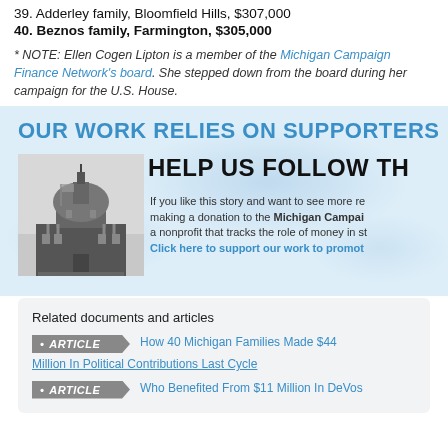39. Adderley family, Bloomfield Hills, $307,000
40. Beznos family, Farmington, $305,000
* NOTE: Ellen Cogen Lipton is a member of the Michigan Campaign Finance Network's board. She stepped down from the board during her campaign for the U.S. House.
[Figure (infographic): Promotional banner with blue text 'OUR WORK RELIES ON SUPPORTERS', black text 'HELP US FOLLOW TH', image of Michigan state capitol building, and text about making a donation to the Michigan Campaign Finance Network with a link to support their work.]
Related documents and articles
ARTICLE - How 40 Michigan Families Made $44 Million In Political Contributions Last Cycle
ARTICLE - Who Benefited From $11 Million In DeVos